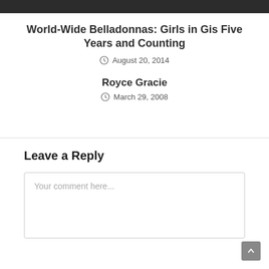[Figure (other): Dark top bar banner image]
World-Wide Belladonnas: Girls in Gis Five Years and Counting
August 20, 2014
Royce Gracie
March 29, 2008
Leave a Reply
Your comment here...